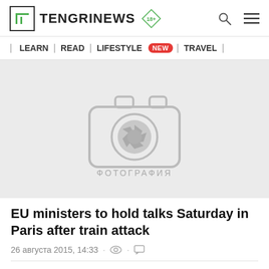TENGRINEWS 18+
| LEARN | READ | LIFESTYLE NEW | TRAVEL |
[Figure (photo): Camera placeholder image with shutter aperture icon and text ФОТОГРАФИЯ below]
EU ministers to hold talks Saturday in Paris after train attack
26 августа 2015, 14:33 · [eye icon] · [comment icon]